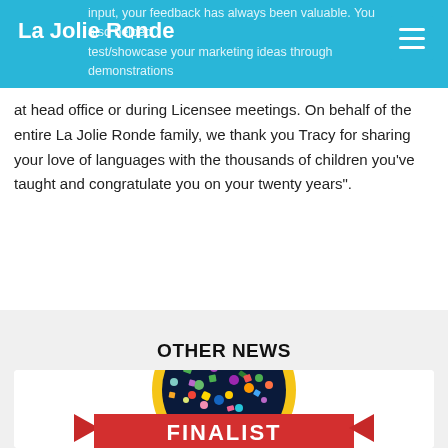La Jolie Ronde
input, your feedback has always been valuable. You also helped test/showcase your marketing ideas through demonstrations at head office or during Licensee meetings. On behalf of the entire La Jolie Ronde family, we thank you Tracy for sharing your love of languages with the thousands of children you've taught and congratulate you on your twenty years".
OTHER NEWS
[Figure (illustration): A circular badge/medal with colorful confetti on a dark background, with a red ribbon banner at the bottom reading FINALIST in white bold text. The badge has a gold/yellow circular border.]